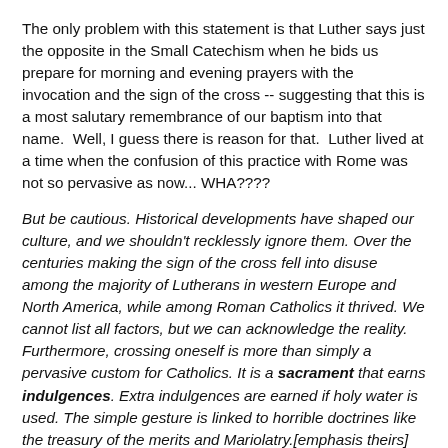The only problem with this statement is that Luther says just the opposite in the Small Catechism when he bids us prepare for morning and evening prayers with the invocation and the sign of the cross -- suggesting that this is a most salutary remembrance of our baptism into that name.  Well, I guess there is reason for that.  Luther lived at a time when the confusion of this practice with Rome was not so pervasive as now... WHA????
But be cautious. Historical developments have shaped our culture, and we shouldn't recklessly ignore them. Over the centuries making the sign of the cross fell into disuse among the majority of Lutherans in western Europe and North America, while among Roman Catholics it thrived. We cannot list all factors, but we can acknowledge the reality. Furthermore, crossing oneself is more than simply a pervasive custom for Catholics. It is a sacrament that earns indulgences. Extra indulgences are earned if holy water is used. The simple gesture is linked to horrible doctrines like the treasury of the merits and Mariolatry.[emphasis theirs]
Apparently the answer man (probably not a woman in